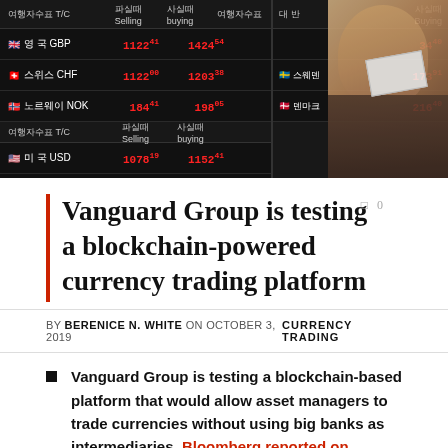[Figure (photo): Currency exchange board showing various currencies (GBP, CHF, NOK, USD, CAD) with exchange rates in red digital display, with a person in the foreground looking at papers]
Vanguard Group is testing a blockchain-powered currency trading platform
BY BERENICE N. WHITE ON OCTOBER 3, 2019   CURRENCY TRADING
Vanguard Group is testing a blockchain-based platform that would allow asset managers to trade currencies without using big banks as intermediaries, Bloomberg reported on Thursday.
The foreign exchange market handles $6 trillion a day and is currently dominated by companies like JPMorgan Chase and Citi.